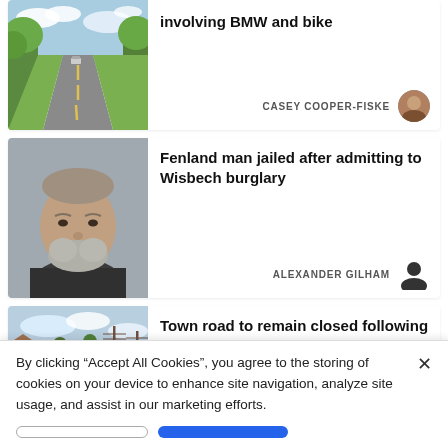[Figure (photo): Rural road with trees on both sides, car visible in distance]
involving BMW and bike
CASEY COOPER-FISKE
[Figure (photo): Mugshot of middle-aged man with grey beard and short hair]
Fenland man jailed after admitting to Wisbech burglary
ALEXANDER GILHAM
[Figure (photo): Rural scene with telegraph poles and flat fields under cloudy sky]
Town road to remain closed following serious crash
By clicking “Accept All Cookies”, you agree to the storing of cookies on your device to enhance site navigation, analyze site usage, and assist in our marketing efforts.